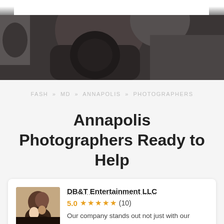[Figure (photo): Hero image showing a photographer with camera equipment in the background, partially cropped. A search bar is visible at the top of the image.]
FASH » MD » ANNAPOLIS » PHOTOGRAPHERS
Annapolis Photographers Ready to Help
DB&T Entertainment LLC
5.0 ★★★★★ (10)
Our company stands out not just with our